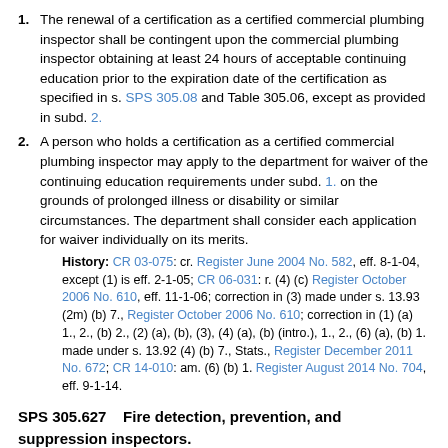1. The renewal of a certification as a certified commercial plumbing inspector shall be contingent upon the commercial plumbing inspector obtaining at least 24 hours of acceptable continuing education prior to the expiration date of the certification as specified in s. SPS 305.08 and Table 305.06, except as provided in subd. 2.
2. A person who holds a certification as a certified commercial plumbing inspector may apply to the department for waiver of the continuing education requirements under subd. 1. on the grounds of prolonged illness or disability or similar circumstances. The department shall consider each application for waiver individually on its merits.
History: CR 03-075: cr. Register June 2004 No. 582, eff. 8-1-04, except (1) is eff. 2-1-05; CR 06-031: r. (4) (c) Register October 2006 No. 610, eff. 11-1-06; correction in (3) made under s. 13.93 (2m) (b) 7., Register October 2006 No. 610; correction in (1) (a) 1., 2., (b) 2., (2) (a), (b), (3), (4) (a), (b) (intro.), 1., 2., (6) (a), (b) 1. made under s. 13.92 (4) (b) 7., Stats., Register December 2011 No. 672; CR 14-010: am. (6) (b) 1. Register August 2014 No. 704, eff. 9-1-14.
SPS 305.627    Fire detection, prevention, and suppression inspectors.
(1) General. No person may perform inspections of fire detection, prevention, and suppression devices being installed during the construction or alteration of, or the addition to, public buildings and places of employment unless the person holds a